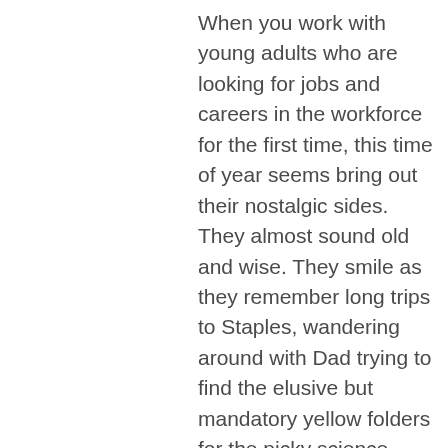When you work with young adults who are looking for jobs and careers in the workforce for the first time, this time of year seems bring out their nostalgic sides. They almost sound old and wise. They smile as they remember long trips to Staples, wandering around with Dad trying to find the elusive but mandatory yellow folders for the picky science teacher. They fondly remember their new backpacks each year, and being dropped off to middle school on their first day, and they